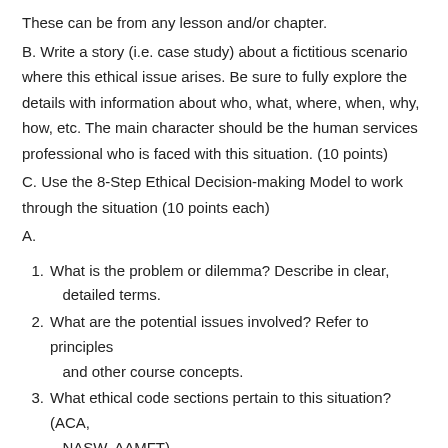These can be from any lesson and/or chapter.
B. Write a story (i.e. case study) about a fictitious scenario where this ethical issue arises. Be sure to fully explore the details with information about who, what, where, when, why, how, etc. The main character should be the human services professional who is faced with this situation. (10 points)
C. Use the 8-Step Ethical Decision-making Model to work through the situation (10 points each)
A.
1. What is the problem or dilemma? Describe in clear, detailed terms.
2. What are the potential issues involved? Refer to principles and other course concepts.
3. What ethical code sections pertain to this situation? (ACA, NASW, AAMFT)
4. Do any laws or regulations apply to the situation? (as best...